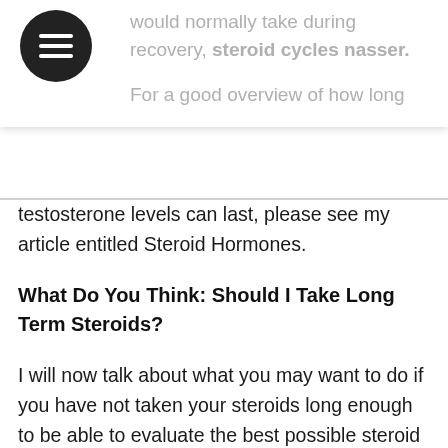would normally take during recovery, steroid cycles nasser.
For a good overview of how long testosterone levels can last, please see my article entitled Steroid Hormones.
What Do You Think: Should I Take Long Term Steroids?
I will now talk about what you may want to do if you have not taken your steroids long enough to be able to evaluate the best possible steroid cycle you can take for your situation and goals, british dragon pharmaceuticals.
To start with, let me stress that if you want to gain muscle mass, do not use steroids. This can seriously damage your body and make you lose out on a whole host of other benefits, computer steroids shop.